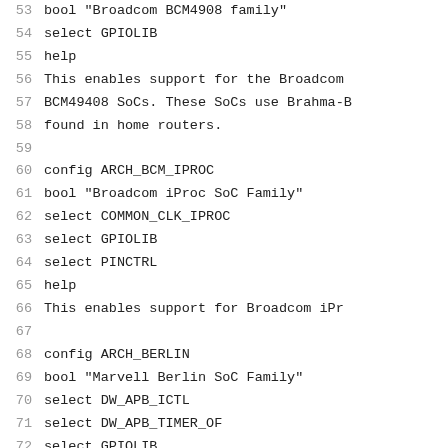53    bool "Broadcom BCM4908 family"
54    select GPIOLIB
55    help
56        This enables support for the Broadcom
57        BCM49408 SoCs. These SoCs use Brahma-B
58        found in home routers.
59
60 config ARCH_BCM_IPROC
61    bool "Broadcom iProc SoC Family"
62    select COMMON_CLK_IPROC
63    select GPIOLIB
64    select PINCTRL
65    help
66        This enables support for Broadcom iPr
67
68 config ARCH_BERLIN
69    bool "Marvell Berlin SoC Family"
70    select DW_APB_ICTL
71    select DW_APB_TIMER_OF
72    select GPIOLIB
73    select PINCTRL
74    help